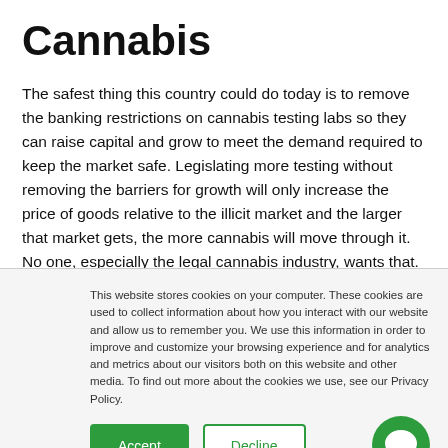Cannabis
The safest thing this country could do today is to remove the banking restrictions on cannabis testing labs so they can raise capital and grow to meet the demand required to keep the market safe. Legislating more testing without removing the barriers for growth will only increase the price of goods relative to the illicit market and the larger that market gets, the more cannabis will move through it. No one, especially the legal cannabis industry, wants that.
This website stores cookies on your computer. These cookies are used to collect information about how you interact with our website and allow us to remember you. We use this information in order to improve and customize your browsing experience and for analytics and metrics about our visitors both on this website and other media. To find out more about the cookies we use, see our Privacy Policy.